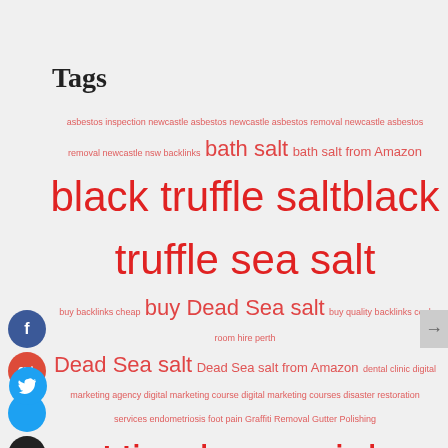Tags
[Figure (infographic): Tag cloud with various tags in different sizes and salmon/red color. Tags include: asbestos inspection newcastle, asbestos newcastle, asbestos removal newcastle asbestos, removal newcastle nsw, backlinks, bath salt, bath salt from Amazon, black truffle salt, black truffle sea salt, buy backlinks cheap, buy Dead Sea salt, buy quality backlinks, cool room hire perth, Dead Sea salt, Dead Sea salt from Amazon, dental clinic, digital marketing agency, digital marketing course, digital marketing courses, disaster restoration services, endometriosis, foot pain, Graffiti Removal, Gutter Polishing, Himalayan pink salt, Himalayan salt, managed IT services, marketing automation course, marketing courses, newcastle asbestos removal, online marketing courses, Pink Himalayan salt, Pink salt, podiatry, pure Dead]